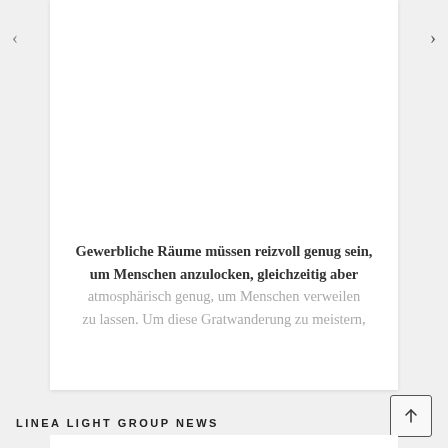‹
›
Gewerbliche Räume müssen reizvoll genug sein, um Menschen anzulocken, gleichzeitig aber atmosphärisch genug, um Menschen verweilen zu lassen. Um diese Gratwanderung zu meistern,
LINEA LIGHT GROUP NEWS
[Figure (screenshot): Up arrow button in a bordered square box]